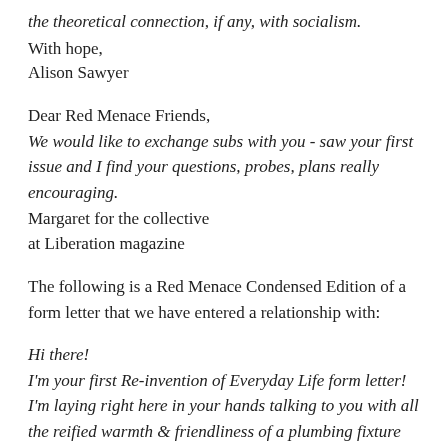the theoretical connection, if any, with socialism.
With hope,
Alison Sawyer
Dear Red Menace Friends,
We would like to exchange subs with you - saw your first issue and I find your questions, probes, plans really encouraging.
Margaret for the collective at Liberation magazine
The following is a Red Menace Condensed Edition of a form letter that we have entered a relationship with:
Hi there!
I'm your first Re-invention of Everyday Life form letter! I'm laying right here in your hands talking to you with all the reified warmth & friendliness of a plumbing fixture